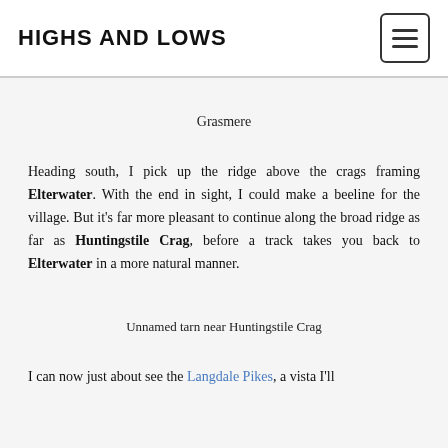HIGHS AND LOWS
Grasmere
Heading south, I pick up the ridge above the crags framing Elterwater. With the end in sight, I could make a beeline for the village. But it's far more pleasant to continue along the broad ridge as far as Huntingstile Crag, before a track takes you back to Elterwater in a more natural manner.
Unnamed tarn near Huntingstile Crag
I can now just about see the Langdale Pikes, a vista I'll